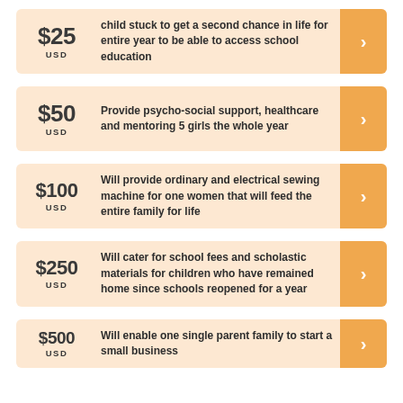$25 USD — child stuck to get a second chance in life for entire year to be able to access school education
$50 USD — Provide psycho-social support, healthcare and mentoring 5 girls the whole year
$100 USD — Will provide ordinary and electrical sewing machine for one women that will feed the entire family for life
$250 USD — Will cater for school fees and scholastic materials for children who have remained home since schools reopened for a year
$500 USD — Will enable one single parent family to start a small business